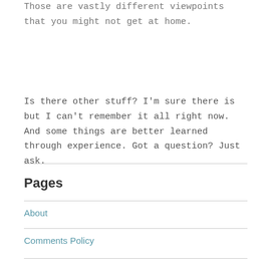Those are vastly different viewpoints that you might not get at home.
Is there other stuff?  I'm sure there is but I can't remember it all right now.  And some things are better learned through experience.  Got a question?  Just ask.
Pages
About
Comments Policy